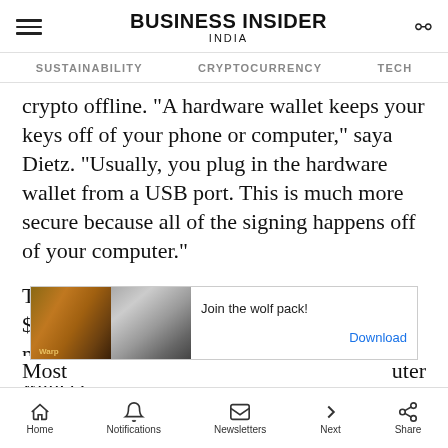BUSINESS INSIDER INDIA
SUSTAINABILITY  CRYPTOCURRENCY  TECH
crypto offline. "A hardware wallet keeps your keys off of your phone or computer," saya Dietz. "Usually, you plug in the hardware wallet from a USB port. This is much more secure because all of the signing happens off of your computer."
The typical hardware wallet costs around $100, give or take. These tend to be slightly more complicated to use than software wallets.
[Figure (screenshot): Advertisement banner showing wolves with text 'Join the wolf pack!' and a 'Download' button]
Most
Home  Notifications  Newsletters  Next  Share